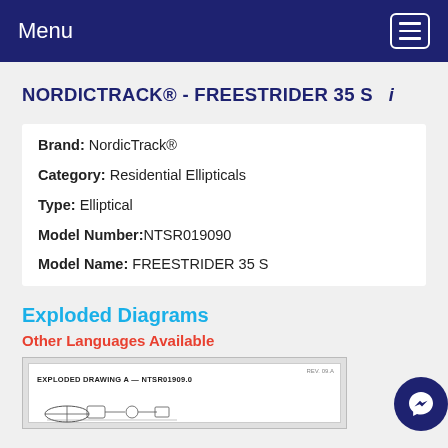Menu
NORDICTRACK® - FREESTRIDER 35 S
Brand: NordicTrack®
Category: Residential Ellipticals
Type: Elliptical
Model Number: NTSR019090
Model Name: FREESTRIDER 35 S
Exploded Diagrams
Other Languages Available
[Figure (engineering-diagram): Exploded Drawing A - NTSR01909.0 diagram preview showing partial exploded view of elliptical machine parts]